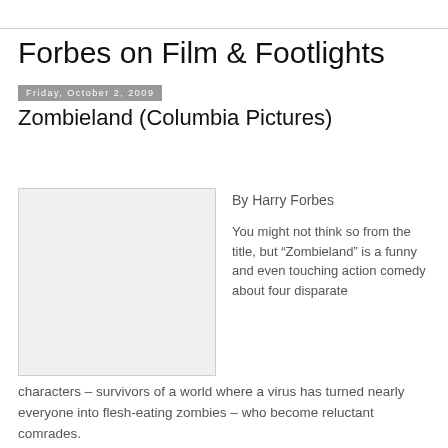Forbes on Film & Footlights
Friday, October 2, 2009
Zombieland (Columbia Pictures)
[Figure (photo): Placeholder image for the Zombieland film, shown as a light gray box with a thin border]
By Harry Forbes
You might not think so from the title, but “Zombieland” is a funny and even touching action comedy about four disparate characters – survivors of a world where a virus has turned nearly everyone into flesh-eating zombies – who become reluctant comrades.